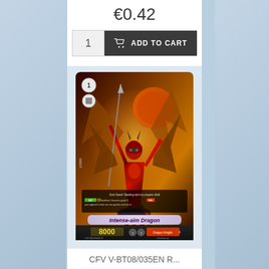€0.42
1   ADD TO CART
[Figure (photo): Trading card featuring Intense-aim Dragon, a red armored dragon warrior character with wings and a spear, power 8000, from Cardfight Vanguard set CFV V-BT08/035EN R]
CFV V-BT08/035EN R...
€0.42
1   ADD TO CART